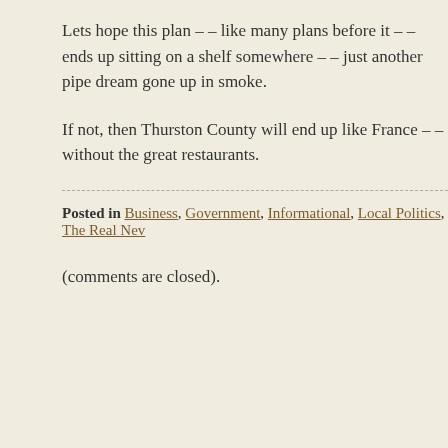Lets hope this plan – – like many plans before it – – ends up sitting on a shelf somewhere – – just another pipe dream gone up in smoke.
If not, then Thurston County will end up like France – – without the great restaurants.
Posted in Business, Government, Informational, Local Politics, The Real New
(comments are closed).